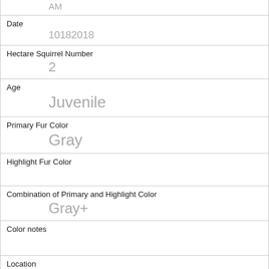AM
Date
10182018
Hectare Squirrel Number
2
Age
Juvenile
Primary Fur Color
Gray
Highlight Fur Color
Combination of Primary and Highlight Color
Gray+
Color notes
Location
Ground Plane
Above Ground Sighter Measurement
FALSE
Specific Location